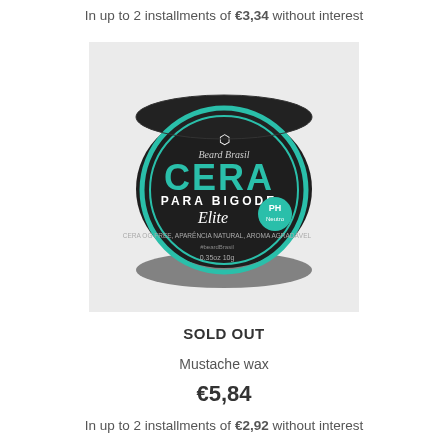In up to 2 installments of €3,34 without interest
[Figure (photo): Beard Brasil Cera Para Bigode Elite mustache wax product tin, dark green/black circular tin with teal lettering]
SOLD OUT
Mustache wax
€5,84
In up to 2 installments of €2,92 without interest